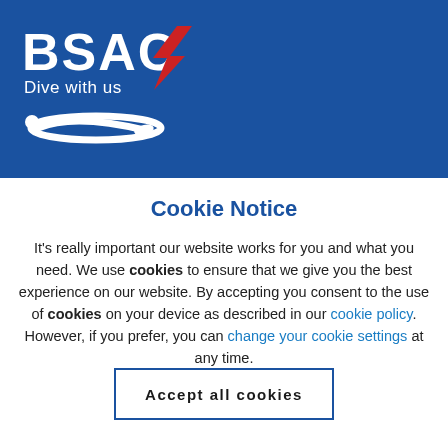[Figure (logo): BSAC logo with red chevron/swoosh, white text 'BSAC' large, 'Dive with us' below, diver silhouette icon, all on blue background header]
Cookie Notice
It's really important our website works for you and what you need. We use cookies to ensure that we give you the best experience on our website. By accepting you consent to the use of cookies on your device as described in our cookie policy. However, if you prefer, you can change your cookie settings at any time.
Accept all cookies